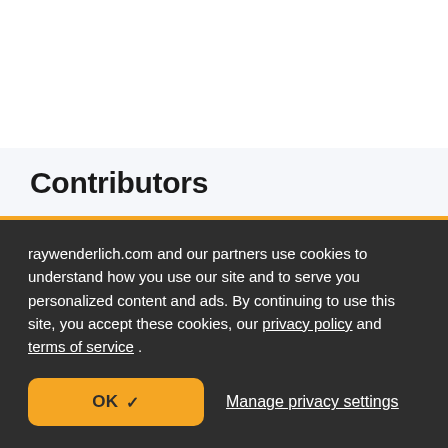Contributors
raywenderlich.com and our partners use cookies to understand how you use our site and to serve you personalized content and ads. By continuing to use this site, you accept these cookies, our privacy policy and terms of service .
OK ✓
Manage privacy settings